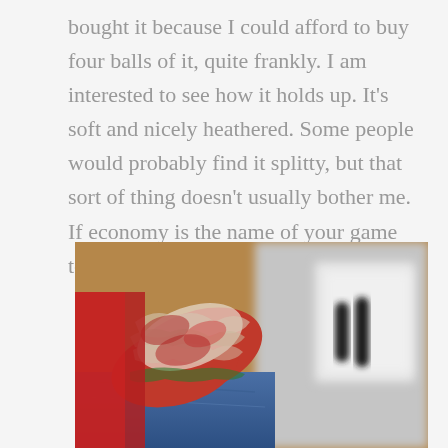bought it because I could afford to buy four balls of it, quite frankly. I am interested to see how it holds up. It's soft and nicely heathered. Some people would probably find it splitty, but that sort of thing doesn't usually bother me.  If economy is the name of your game too, it's worth a look.
[Figure (photo): Close-up photo of a knitted sock or textile item in red and white/cream colors, resting on what appears to jeans, with a blurred book or device with a black handle visible in the background.]